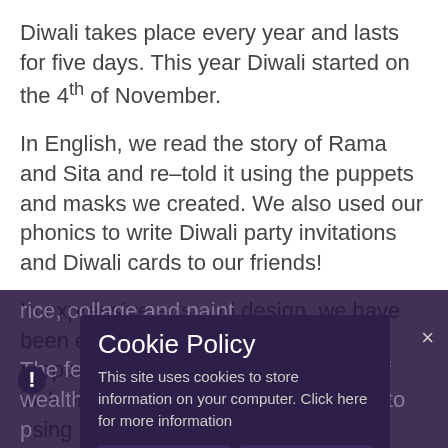Diwali takes place every year and lasts for five days. This year Diwali started on the 4th of November.
In English, we read the story of Rama and Sita and re-told it using the puppets and masks we created. We also used our phonics to write Diwali party invitations and Diwali cards to our friends!
In expressive arts and design, we have been exploring traditional ways of preparing for and celebrating Diwali including Mendhi and Rangoli patterns using a range of media, including coloured rice, collage and paint.
The festival celebrates the goddess of wealth... we... decorated our... a Lal...
Cookie Policy
This site uses cookies to store information on your computer. Click here for more information
Allow Cookies   Deny Cookies